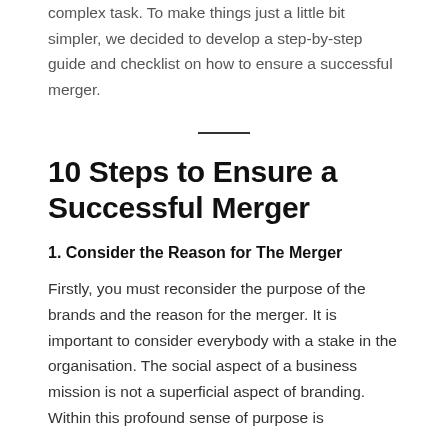complex task. To make things just a little bit simpler, we decided to develop a step-by-step guide and checklist on how to ensure a successful merger.
10 Steps to Ensure a Successful Merger
1. Consider the Reason for The Merger
Firstly, you must reconsider the purpose of the brands and the reason for the merger. It is important to consider everybody with a stake in the organisation. The social aspect of a business mission is not a superficial aspect of branding. Within this profound sense of purpose is